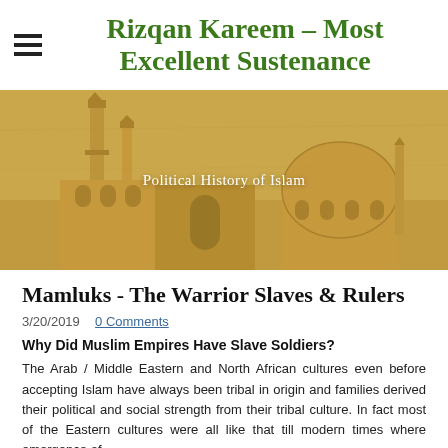Rizqan Kareem – Most Excellent Sustenance
[Figure (illustration): Painting of an Islamic cityscape with minarets and a mosque dome on a warm tan/golden background, with the text 'Political History of Islam' overlaid in white.]
Mamluks - The Warrior Slaves & Rulers
3/20/2019   0 Comments
Why Did Muslim Empires Have Slave Soldiers?
The Arab / Middle Eastern and North African cultures even before accepting Islam have always been tribal in origin and families derived their political and social strength from their tribal culture. In fact most of the Eastern cultures were all like that till modern times where emergence of